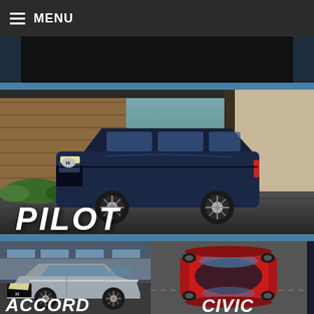MENU
[Figure (screenshot): Honda Passport model name banner in white italic text on dark background]
[Figure (photo): Honda Pilot dark blue SUV parked in front of a modern building with the word PILOT in white italic text overlaid at the bottom left]
[Figure (photo): Honda Accord silver sedan front 3/4 view with the word ACCORD in white italic text overlaid at the bottom left]
[Figure (photo): Honda Civic red sedan aerial view with the word CIVIC in white italic text overlaid at the bottom right]